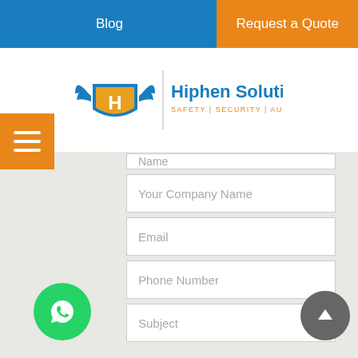Blog | Request a Quote
[Figure (logo): Hiphen Solutions logo — shield icon with wings and H letter, blue and gold colors. Text: Hiphen Solutions, SAFETY | SECURITY | AUTOMATIONS]
Name
Your Company Name
Email
Phone Number
Subject
Lagos Mainland - Lagos State
Need Help? Chat with us
WhatsApp